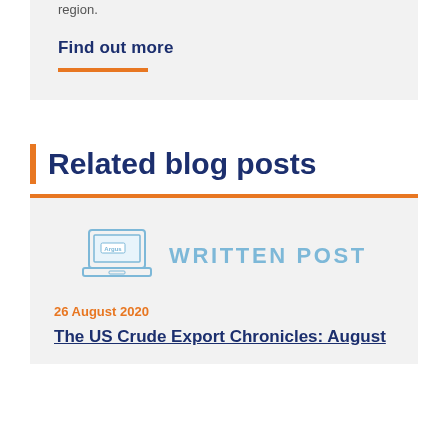region.
Find out more
Related blog posts
[Figure (illustration): Laptop icon with 'Argus' label on screen, next to 'WRITTEN POST' text in light blue]
26 August 2020
The US Crude Export Chronicles: August